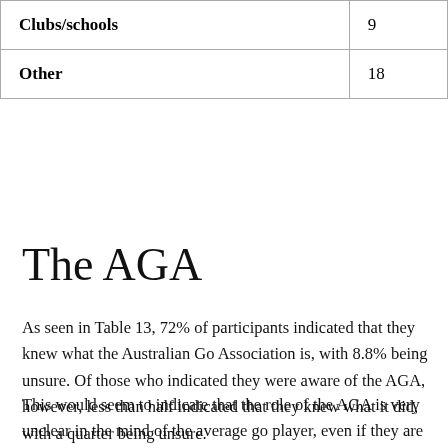| Clubs/schools | 9 |
| Other | 18 |
The AGA
As seen in Table 13, 72% of participants indicated that they knew what the Australian Go Association is, with 8.8% being unsure. Of those who indicated they were aware of the AGA, however, less than half indicated that they knew what it did, with a quarter being unsure.
This would seem to indicate that the role of the AGA is very unclear in the mind of the average go player, even if they are aware of its existence (remember, while efforts were made to recruit